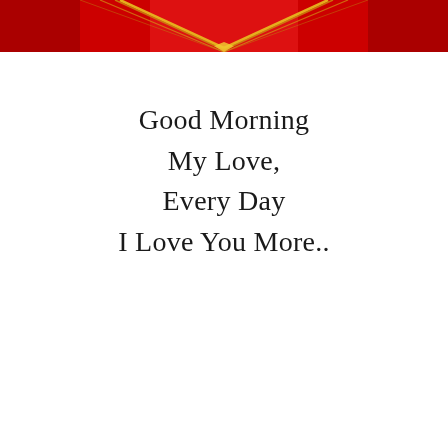[Figure (illustration): Red decorative banner at the top with golden/yellow line accents forming a V or wing shape pointing downward, on a red background.]
Good Morning
My Love,
Every Day
I Love You More..